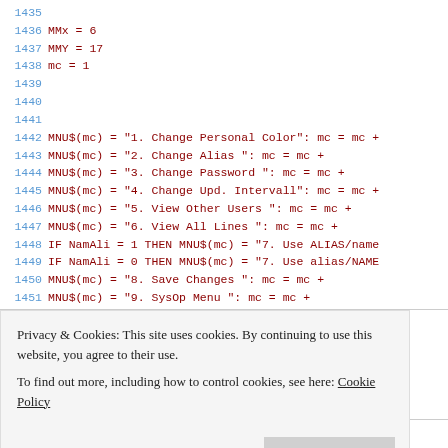[Figure (screenshot): Source code listing showing BASIC code lines 1435-1454 and 1462, with line numbers in blue and code in dark red monospace font]
Privacy & Cookies: This site uses cookies. By continuing to use this website, you agree to their use.
To find out more, including how to control cookies, see here: Cookie Policy